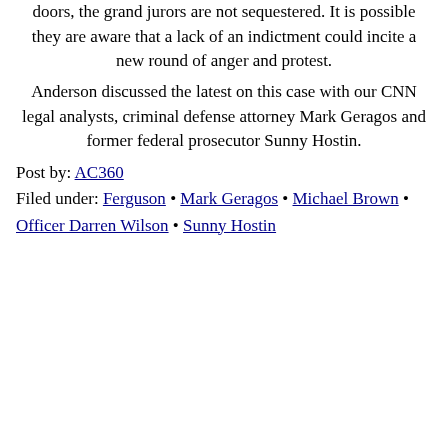doors, the grand jurors are not sequestered. It is possible they are aware that a lack of an indictment could incite a new round of anger and protest.
Anderson discussed the latest on this case with our CNN legal analysts, criminal defense attorney Mark Geragos and former federal prosecutor Sunny Hostin.
Post by: AC360
Filed under: Ferguson • Mark Geragos • Michael Brown • Officer Darren Wilson • Sunny Hostin